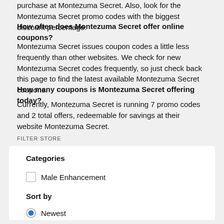purchase at Montezuma Secret. Also, look for the Montezuma Secret promo codes with the biggest discount percentage.
How often does Montezuma Secret offer online coupons?
Montezuma Secret issues coupon codes a little less frequently than other websites. We check for new Montezuma Secret codes frequently, so just check back this page to find the latest available Montezuma Secret coupons.
How many coupons is Montezuma Secret offering today?
Currently, Montezuma Secret is running 7 promo codes and 2 total offers, redeemable for savings at their website Montezuma Secret.
FILTER STORE
Categories
Male Enhancement
Sort by
Newest